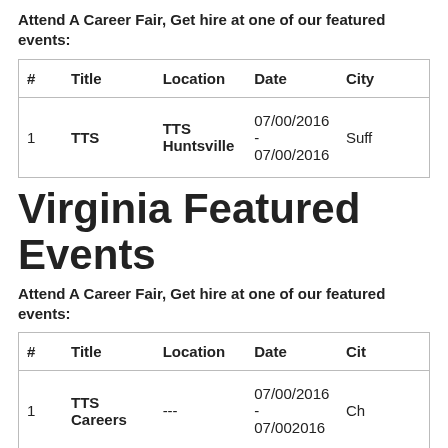Attend A Career Fair, Get hire at one of our featured events:
| # | Title | Location | Date | City |
| --- | --- | --- | --- | --- |
| 1 | TTS | TTS Huntsville | 07/00/2016 - 07/00/2016 | Suff |
Virginia Featured Events
Attend A Career Fair, Get hire at one of our featured events:
| # | Title | Location | Date | Cit |
| --- | --- | --- | --- | --- |
| 1 | TTS Careers | --- | 07/00/2016 - 07/002016 | Ch |
Virginia Featured Events
Attend A Career Fair, Get hire at one of our featured